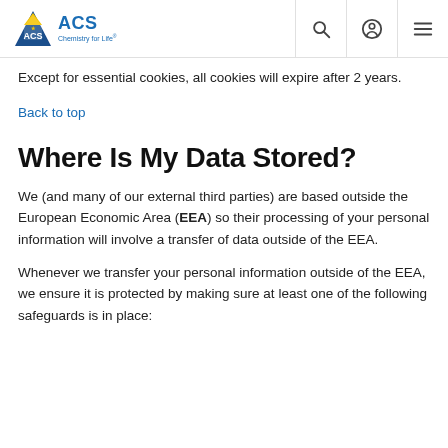ACS Chemistry for Life
Except for essential cookies, all cookies will expire after 2 years.
Back to top
Where Is My Data Stored?
We (and many of our external third parties) are based outside the European Economic Area (EEA) so their processing of your personal information will involve a transfer of data outside of the EEA.
Whenever we transfer your personal information outside of the EEA, we ensure it is protected by making sure at least one of the following safeguards is in place: